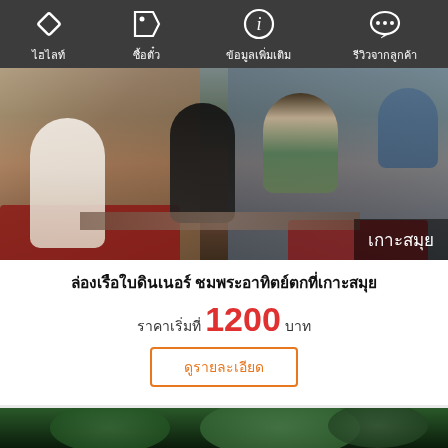ไฮไลท์ | ซื้อตั๋ว | ข้อมูลเพิ่มเติม | รีวิวจากลูกค้า
[Figure (photo): People dining on a boat at sunset, Koh Samui. Red bench seats, wooden tables with food and drinks. Location tag shows เกาะสมุย (Koh Samui).]
ล่องเรือใบดินเนอร์ ชมพระอาทิตย์ตกที่เกาะสมุย
ราคาเริ่มที่ 1200 บาท
ดูรายละเอียด
[Figure (photo): Bottom photo partially visible - lush green tropical foliage, dark jungle scene.]